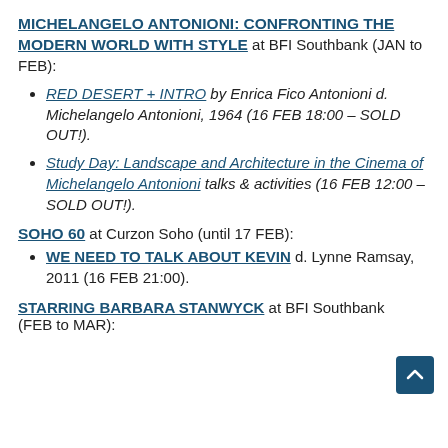MICHELANGELO ANTONIONI: CONFRONTING THE MODERN WORLD WITH STYLE at BFI Southbank (JAN to FEB):
RED DESERT + INTRO by Enrica Fico Antonioni d. Michelangelo Antonioni, 1964 (16 FEB 18:00 – SOLD OUT!).
Study Day: Landscape and Architecture in the Cinema of Michelangelo Antonioni talks & activities (16 FEB 12:00 – SOLD OUT!).
SOHO 60 at Curzon Soho (until 17 FEB):
WE NEED TO TALK ABOUT KEVIN d. Lynne Ramsay, 2011 (16 FEB 21:00).
STARRING BARBARA STANWYCK at BFI Southbank (FEB to MAR):